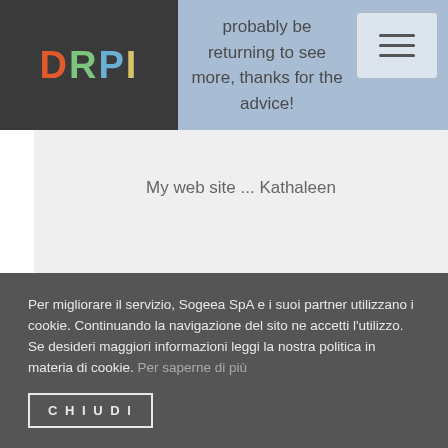DRPI — probably be returning to see more, thanks for the advice!
My web site ... Kathaleen
Reply
Per migliorare il servizio, Sogeea SpA e i suoi partner utilizzano i cookie. Continuando la navigazione del sito ne accetti l'utilizzo.
Se desideri maggiori informazioni leggi la nostra politica in materia di cookie. Per saperne di più
CHIUDI